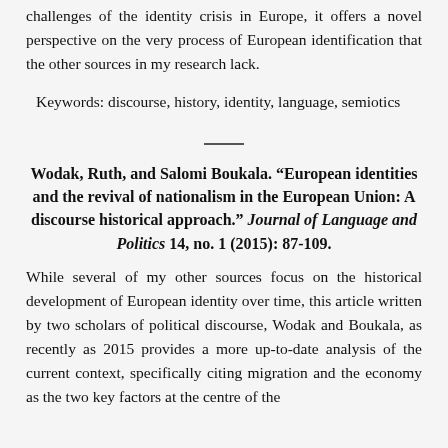challenges of the identity crisis in Europe, it offers a novel perspective on the very process of European identification that the other sources in my research lack.
Keywords: discourse, history, identity, language, semiotics
Wodak, Ruth, and Salomi Boukala. “European identities and the revival of nationalism in the European Union: A discourse historical approach.” Journal of Language and Politics 14, no. 1 (2015): 87-109.
While several of my other sources focus on the historical development of European identity over time, this article written by two scholars of political discourse, Wodak and Boukala, as recently as 2015 provides a more up-to-date analysis of the current context, specifically citing migration and the economy as the two key factors at the centre of the